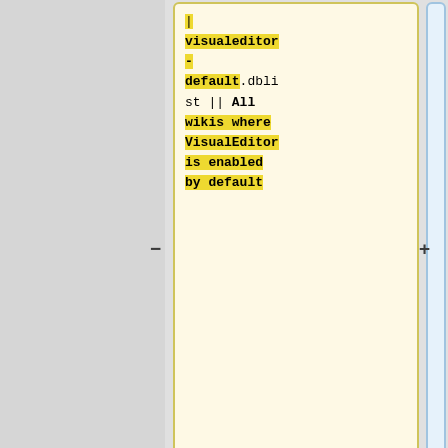| old | new |
| --- | --- |
| | visualeditor-default.dblist || All wikis where VisualEditor is enabled by default |  |
| |- | wikiversity.dblist wikivoyage.dblist |
| | commonsuploads.dblist || All wikis which should have local |  |